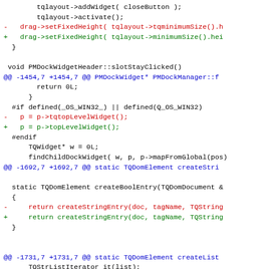Code diff showing changes in PMDockWidgetHeader and related functions including tqlayout, PMDockManager, TQDomElement methods